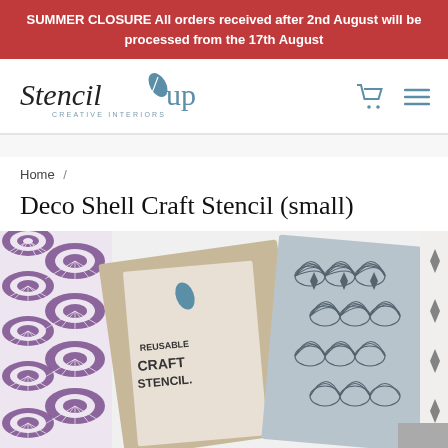SUMMER CLOSURE All orders received after 2nd August will be processed from the 17th August
[Figure (logo): Stencil Up Creative Interiors logo with leaf icon]
Home /
Deco Shell Craft Stencil (small)
[Figure (photo): Product photo showing Deco Shell Craft Stencil in three views: purple patterned stencil on left, tan/beige stencil with packaging in center, and gray/blue patterned stencil sheet on right]